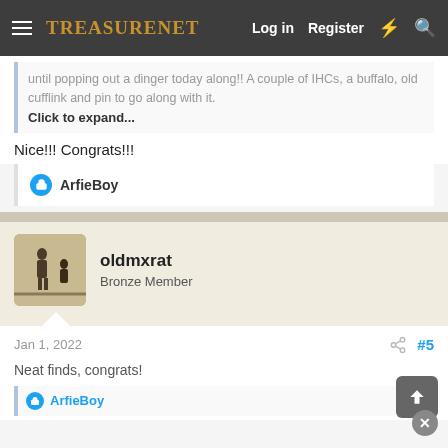TreasureNet | Log in | Register
until popping out a dinger today along!! A couple of IHCs, a buffalo, old cufflink and pin to go along with it. Click to expand...
Nice!!! Congrats!!!
ArfieBoy
oldmxrat
Bronze Member
Jan 1, 2022
#5
Neat finds, congrats!
ArfieBoy